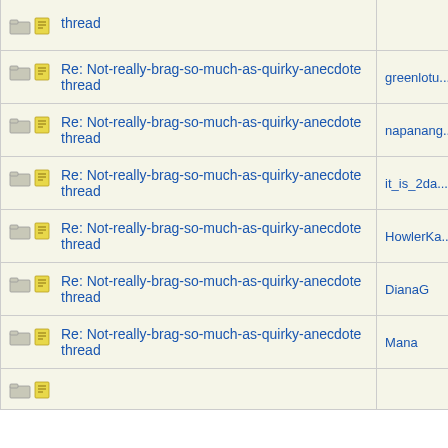| Subject | Author |
| --- | --- |
| Re: Not-really-brag-so-much-as-quirky-anecdote thread | greenlotu... |
| Re: Not-really-brag-so-much-as-quirky-anecdote thread | napanang... |
| Re: Not-really-brag-so-much-as-quirky-anecdote thread | it_is_2da... |
| Re: Not-really-brag-so-much-as-quirky-anecdote thread | HowlerKa... |
| Re: Not-really-brag-so-much-as-quirky-anecdote thread | DianaG |
| Re: Not-really-brag-so-much-as-quirky-anecdote thread | Mana |